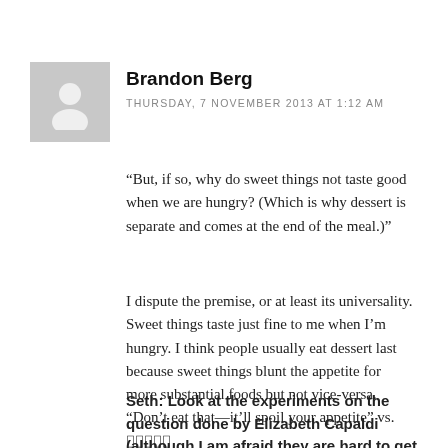[Figure (illustration): Grey avatar placeholder silhouette of a person]
Brandon Berg
THURSDAY, 7 NOVEMBER 2013 AT 1:12 AM
“But, if so, why do sweet things not taste good when we are hungry? (Which is why dessert is separate and comes at the end of the meal.)"
I dispute the premise, or at least its universality. Sweet things taste just fine to me when I’m hungry. I think people usually eat dessert last because sweet things blunt the appetite for more substantial foods but not vice-versa. “Don’t eat that—it’ll spoil your appetite” vs. ⌷⌷⌷⌷⌷
Seth: Look at the experiments on the question done by Elizabeth Capaldi (although I am afraid they are hard to get